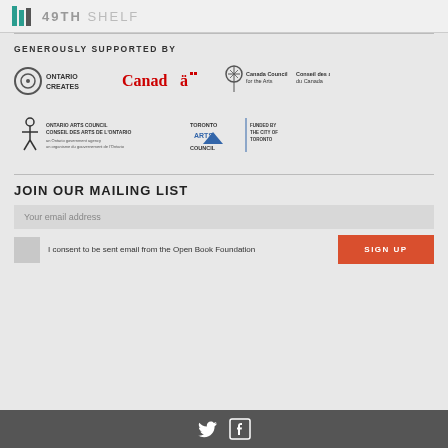49TH SHELF
GENEROUSLY SUPPORTED BY
[Figure (logo): Ontario Creates logo]
[Figure (logo): Canada wordmark logo]
[Figure (logo): Canada Council for the Arts / Conseil des arts du Canada logo]
[Figure (logo): Ontario Arts Council / Conseil des Arts de l'Ontario logo]
[Figure (logo): Toronto Arts Council - Funded by the City of Toronto logo]
JOIN OUR MAILING LIST
Your email address
I consent to be sent email from the Open Book Foundation
SIGN UP
Twitter and Facebook social media icons